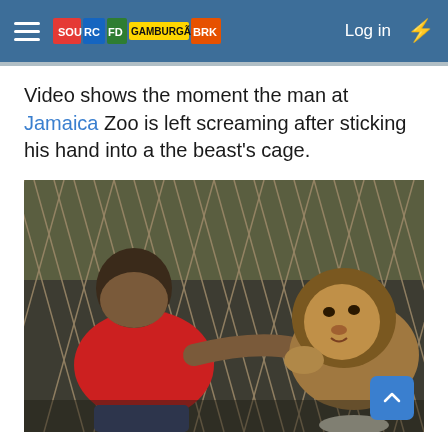Navigation bar with hamburger menu, colorful logo, Log in and lightning icon
Video shows the moment the man at Jamaica Zoo is left screaming after sticking his hand into a the beast's cage.
[Figure (photo): Video still showing a man in a red shirt reaching his hand through a chain-link fence toward a lion at a zoo. The lion appears to be biting or grabbing the man's hand/fingers.]